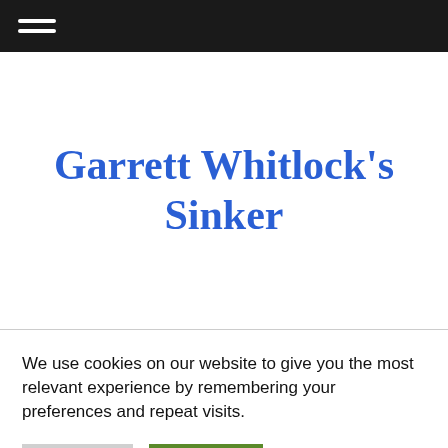Navigation bar with hamburger menu
Garrett Whitlock's Sinker
We use cookies on our website to give you the most relevant experience by remembering your preferences and repeat visits.
Reject All | Accept All